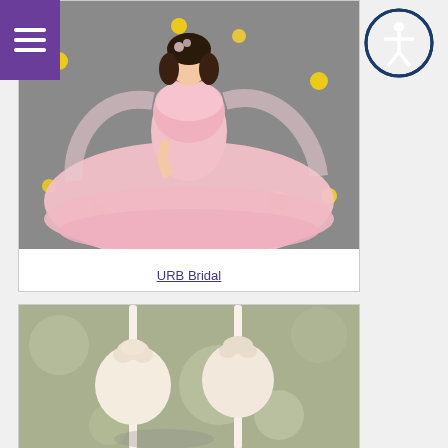[Figure (photo): Purple hamburger menu icon in top-left corner]
[Figure (photo): Accessibility icon (person in circle) in top-right corner]
[Figure (photo): Woman in pink ruffled off-shoulder bridal gown sitting on glittery ground with yellow flowers]
URB Bridal
[Figure (photo): Close-up photo of white wedding cake pops on sticks with blurred background]